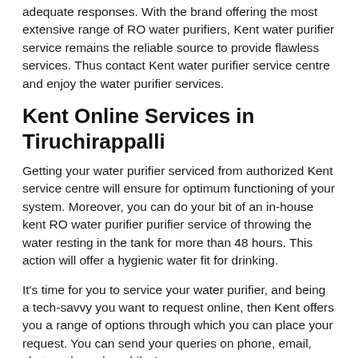adequate responses. With the brand offering the most extensive range of RO water purifiers, Kent water purifier service remains the reliable source to provide flawless services. Thus contact Kent water purifier service centre and enjoy the water purifier services.
Kent Online Services in Tiruchirappalli
Getting your water purifier serviced from authorized Kent service centre will ensure for optimum functioning of your system. Moreover, you can do your bit of an in-house kent RO water purifier purifier service of throwing the water resting in the tank for more than 48 hours. This action will offer a hygienic water fit for drinking.
It's time for you to service your water purifier, and being a tech-savvy you want to request online, then Kent offers you a range of options through which you can place your request. You can send your queries on phone, email, chat, or through mobile App.